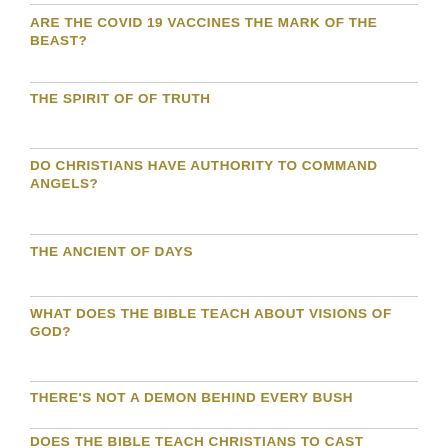ARE THE COVID 19 VACCINES THE MARK OF THE BEAST?
THE SPIRIT OF OF TRUTH
DO CHRISTIANS HAVE AUTHORITY TO COMMAND ANGELS?
THE ANCIENT OF DAYS
WHAT DOES THE BIBLE TEACH ABOUT VISIONS OF GOD?
THERE'S NOT A DEMON BEHIND EVERY BUSH
DOES THE BIBLE TEACH CHRISTIANS TO CAST